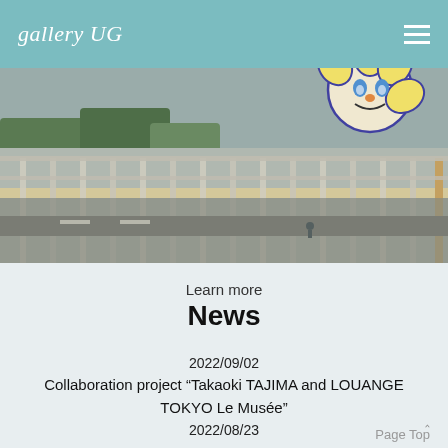gallery UG
[Figure (photo): Outdoor terrace or balcony of a museum/gallery building with glass railings, urban street view below, and a colorful Takashi Murakami-style flower balloon character visible in the upper right corner.]
Learn more
News
2022/09/02
Collaboration project "Takaoki TAJIMA and LOUANGE TOKYO Le Musée"
2022/08/23
Page Top